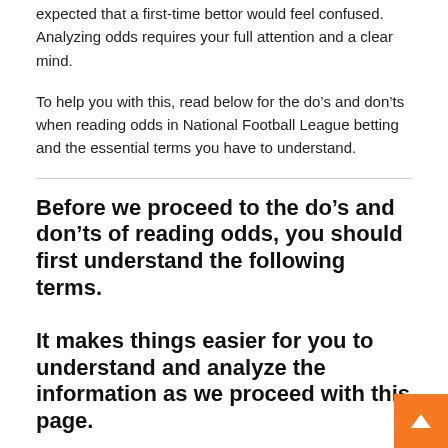expected that a first-time bettor would feel confused. Analyzing odds requires your full attention and a clear mind.
To help you with this, read below for the do’s and don’ts when reading odds in National Football League betting and the essential terms you have to understand.
Before we proceed to the do’s and don’ts of reading odds, you should first understand the following terms.
It makes things easier for you to understand and analyze the information as we proceed with this page.
Important Terms